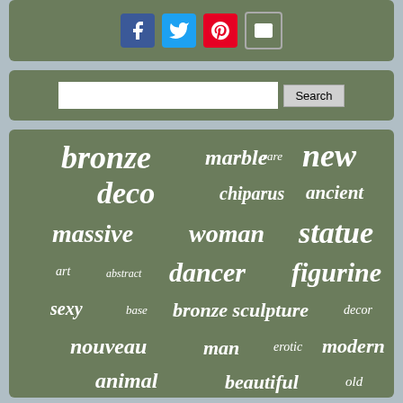[Figure (screenshot): Social media share buttons: Facebook, Twitter, Pinterest, Email on a sage green bar]
[Figure (screenshot): Search bar with text input and Search button on sage green background]
[Figure (infographic): Tag cloud on sage green background with words: bronze, marble, new, rare, deco, chiparus, ancient, massive, woman, statue, art, abstract, dancer, figurine, sexy, base, bronze sculpture, decor, nouveau, man, erotic, modern, animal, beautiful, old, sculpture, signed, very, decoration, bird, sign, figure, style]